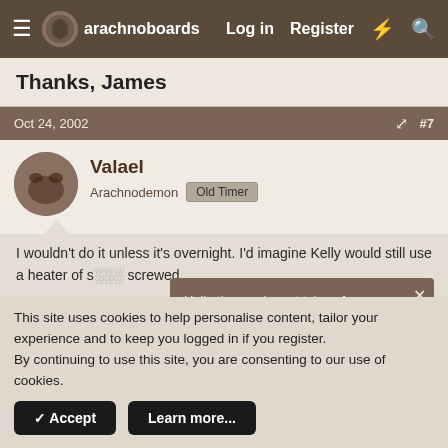arachnoboards  Log in  Register
Thanks, James
Oct 24, 2002  #7
Valael
Arachnodemon  Old Timer
I wouldn't do it unless it's overnight. I'd imagine Kelly would still use a heater of s... screwed.
Hello there, why not take a few seconds to register on our forums and become part of the community? Just click here.
Oct 24, 2002  #8
This site uses cookies to help personalise content, tailor your experience and to keep you logged in if you register.
By continuing to use this site, you are consenting to our use of cookies.
✓ Accept   Learn more...